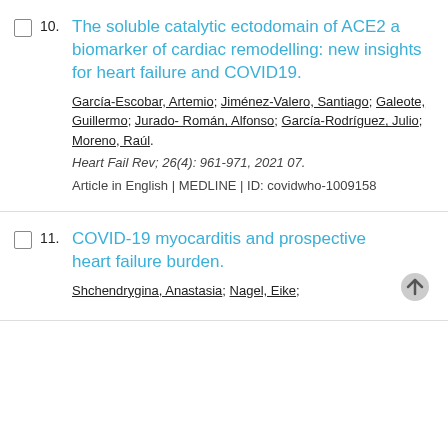10. The soluble catalytic ectodomain of ACE2 a biomarker of cardiac remodelling: new insights for heart failure and COVID19.
García-Escobar, Artemio; Jiménez-Valero, Santiago; Galeote, Guillermo; Jurado-Román, Alfonso; García-Rodríguez, Julio; Moreno, Raúl.
Heart Fail Rev; 26(4): 961-971, 2021 07.
Article in English | MEDLINE | ID: covidwho-1009158
11. COVID-19 myocarditis and prospective heart failure burden.
Shchendrygina, Anastasia; Nagel, Eike;